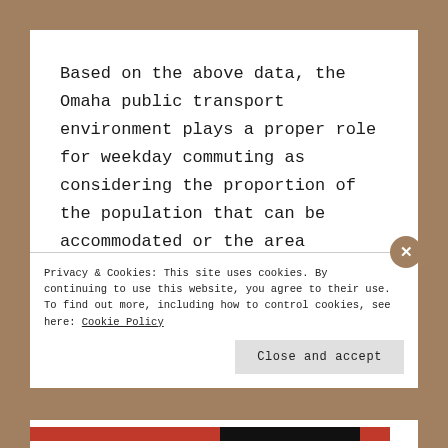Based on the above data, the Omaha public transport environment plays a proper role for weekday commuting as considering the proportion of the population that can be accommodated or the area covered by it, except that it
Privacy & Cookies: This site uses cookies. By continuing to use this website, you agree to their use. To find out more, including how to control cookies, see here: Cookie Policy